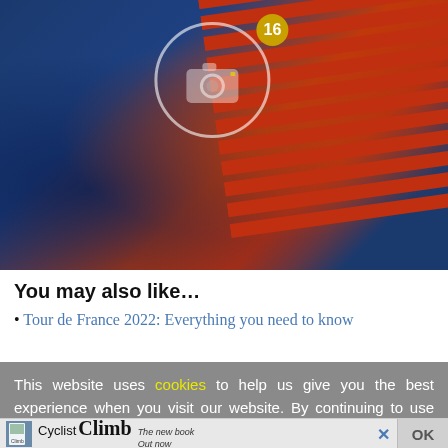[Figure (photo): Close-up photo of a cyclist wearing a navy blue and orange/red striped cycling jersey. A camera icon with a circle overlay is visible on the image, along with a badge showing the number 16.]
You may also like…
Tour de France 2022: Everything you need to know
This website uses cookies to help us give you the best experience when you visit our website. By continuing to use this website, you consent to our use of these cookies.
[Figure (other): Advertisement banner for 'Cyclist Climb' book. Shows a small book cover image, the text 'Cyclist Climb' in large bold font, and 'The new book Out now' in smaller text. Has a close (X) button and an OK button.]